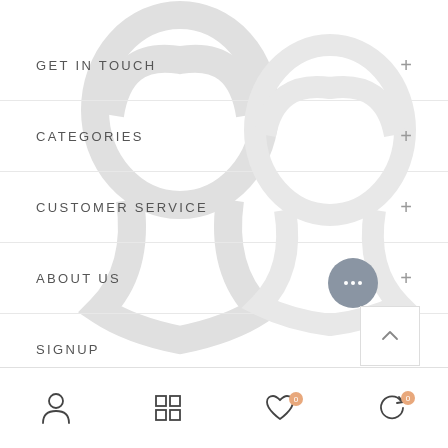[Figure (illustration): Faint watermark silhouette of two human head profiles in light gray, centered on the page background]
GET IN TOUCH
CATEGORIES
CUSTOMER SERVICE
ABOUT US
SIGNUP
[Figure (other): Gray circular chat button with three white dots (ellipsis), indicating a live chat widget]
[Figure (other): White square back-to-top button with upward chevron arrow]
Bottom navigation bar with person icon, grid/apps icon, heart icon with badge 0, and refresh/cart icon with badge 0